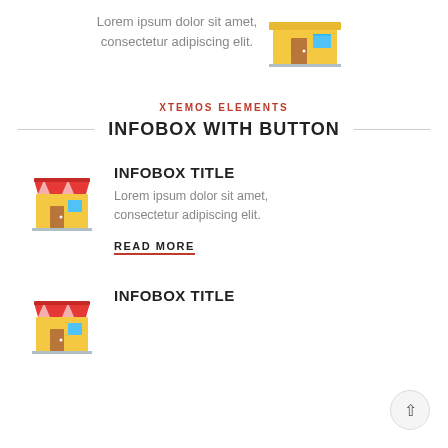Lorem ipsum dolor sit amet, consectetur adipiscing elit.
[Figure (illustration): Flat icon of a yellow shop/store building with a door and blue window, top right corner]
XTEMOS ELEMENTS
INFOBOX WITH BUTTON
[Figure (illustration): Flat icon of a colorful market/shop stall with red and white striped awning, yellow building, blue window]
INFOBOX TITLE
Lorem ipsum dolor sit amet, consectetur adipiscing elit.
READ MORE
[Figure (illustration): Flat icon of a colorful market/shop stall with red and white striped awning, yellow building, blue window (second instance)]
INFOBOX TITLE